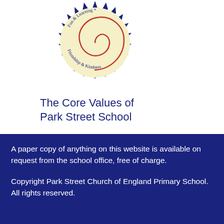[Figure (logo): Circular badge/seal logo with a cream/yellow sun-burst shape with dark navy triangular points around the edge. Inside is a red spiral and text curving around it reading 'Fun & Learning * Friendship & Kindness' in a handwritten style.]
The Core Values of Park Street School
A paper copy of anything on this website is available on request from the school office, free of charge.
Copyright Park Street Church of England Primary School. All rights reserved.